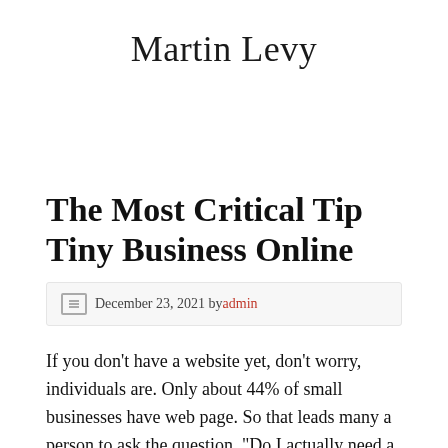Martin Levy
The Most Critical Tip Tiny Business Online
December 23, 2021 by admin
If you don’t have a website yet, don’t worry, individuals are. Only about 44% of small businesses have web page. So that leads many a person to ask the question, “Do I actually need a online business?” The answer might surprise you. No, you do